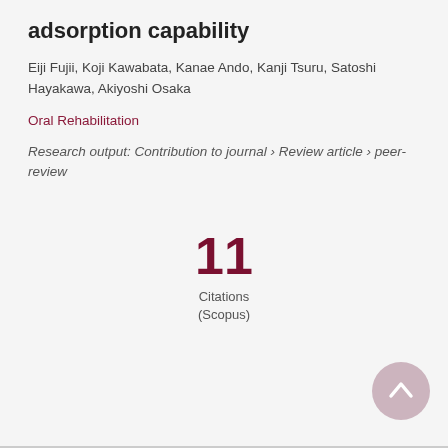adsorption capability
Eiji Fujii, Koji Kawabata, Kanae Ando, Kanji Tsuru, Satoshi Hayakawa, Akiyoshi Osaka
Oral Rehabilitation
Research output: Contribution to journal › Review article › peer-review
11
Citations
(Scopus)
[Figure (other): Scroll-to-top button (circular, muted rose/pink color with upward chevron arrow)]